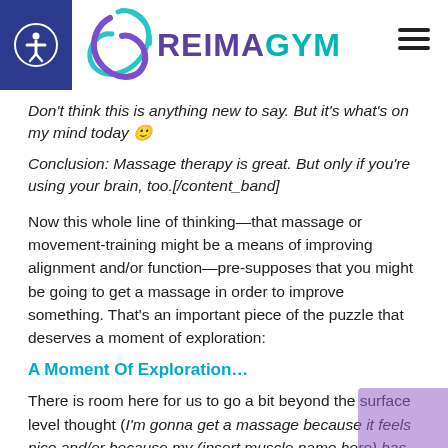REIMAGYM
Don't think this is anything new to say. But it's what's on my mind today 🙂
Conclusion: Massage therapy is great. But only if you're using your brain, too.[/content_band]
Now this whole line of thinking—that massage or movement-training might be a means of improving alignment and/or function—pre-supposes that you might be going to get a massage in order to improve something. That's an important piece of the puzzle that deserves a moment of exploration:
A Moment Of Exploration…
There is room here for us to go a bit beyond the surface level thought (I'm gonna get a massage because it feels nice and/or because my (insert muscle name here) has been feeling so